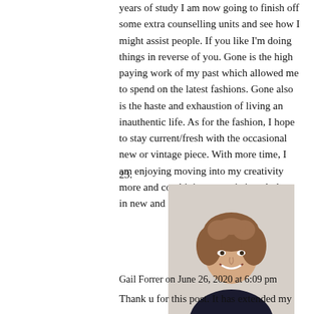years of study I am now going to finish off some extra counselling units and see how I might assist people. If you like I'm doing things in reverse of you. Gone is the high paying work of my past which allowed me to spend on the latest fashions. Gone also is the haste and exhaustion of living an inauthentic life. As for the fashion, I hope to stay current/fresh with the occasional new or vintage piece. With more time, I am enjoying moving into my creativity more and combining my existing clothes in new and exciting and ways.
23.
[Figure (photo): Portrait photo of a woman with short curly reddish-brown hair, smiling, wearing a dark top, against a light background.]
Gail Forrer on June 26, 2020 at 6:09 pm
Thank u for this post. It has extended my